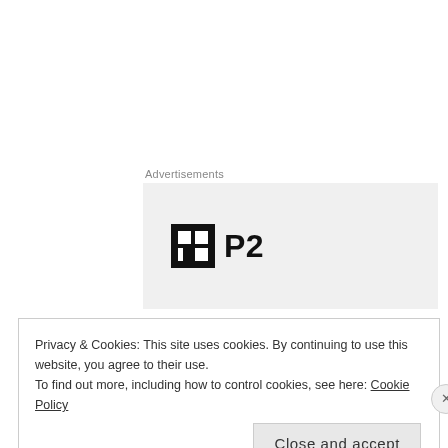Advertisements
[Figure (logo): P2 logo: black square icon with white grid/window symbol, followed by bold text 'P2' on a light grey advertisement background]
WORST MOMENT
The end credits.
I wish this show was like Dateline in the 90's. An hour-long and on 4 nights a week! I never want it to end. But the interwebs tell me that
Privacy & Cookies: This site uses cookies. By continuing to use this website, you agree to their use.
To find out more, including how to control cookies, see here: Cookie Policy
Close and accept
AIRPORT TUES AG